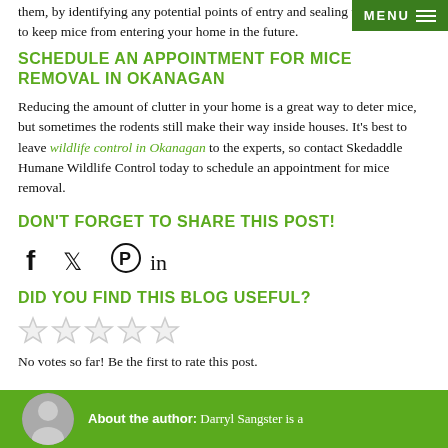them, by identifying any potential points of entry and sealing them to keep mice from entering your home in the future.
SCHEDULE AN APPOINTMENT FOR MICE REMOVAL IN OKANAGAN
Reducing the amount of clutter in your home is a great way to deter mice, but sometimes the rodents still make their way inside houses. It's best to leave wildlife control in Okanagan to the experts, so contact Skedaddle Humane Wildlife Control today to schedule an appointment for mice removal.
DON'T FORGET TO SHARE THIS POST!
[Figure (infographic): Social media share icons: Facebook (f), Twitter (bird), Pinterest (P), LinkedIn (in)]
DID YOU FIND THIS BLOG USEFUL?
[Figure (other): Five empty star rating icons]
No votes so far! Be the first to rate this post.
About the author: Darryl Sangster is a